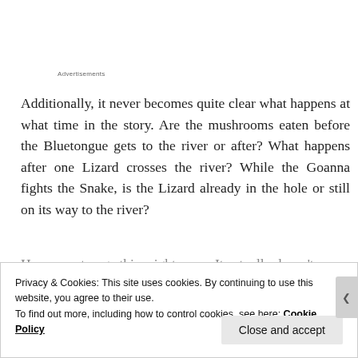Advertisements
Additionally, it never becomes quite clear what happens at what time in the story. Are the mushrooms eaten before the Bluetongue gets to the river or after? What happens after one Lizard crosses the river? While the Goanna fights the Snake, is the Lizard already in the hole or still on its way to the river?
However strange this might seem, It actually doesn't
Privacy & Cookies: This site uses cookies. By continuing to use this website, you agree to their use.
To find out more, including how to control cookies, see here: Cookie Policy
Close and accept